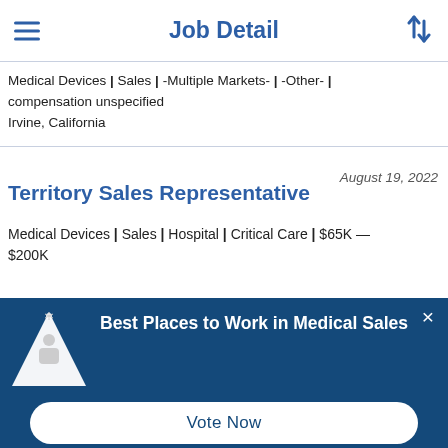Job Detail
Medical Devices | Sales | -Multiple Markets- | -Other- | compensation unspecified
Irvine, California
August 19, 2022
Territory Sales Representative
Medical Devices | Sales | Hospital | Critical Care | $65K - $200K
[Figure (screenshot): Modal overlay popup with dark teal background showing 'Best Places to Work in Medical Sales' with a triangular award icon, subtitle 'Vote for medical sales' 2023 Best Places to Work!' and a 'Vote Now' button]
Best Places to Work in Medical Sales
Vote for medical sales' 2023 Best Places to Work!
Vote Now